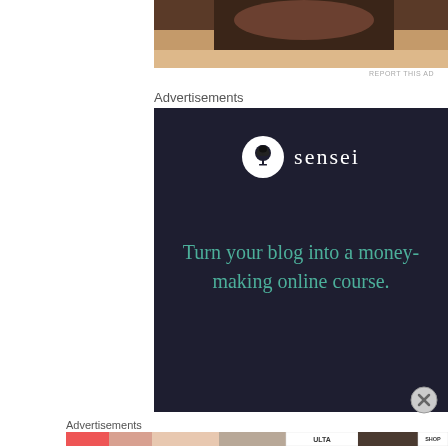[Figure (photo): Partial photo of a person, dark skin, cropped at top of page]
REPORT THIS AD
Advertisements
[Figure (illustration): Sensei advertisement: dark navy background, white circle with bonsai tree logo, 'sensei' text in white, teal text reading 'Turn your blog into a money-making online course.']
[Figure (logo): Close button (X circle) on right side]
Advertisements
[Figure (photo): Bottom banner advertisement showing makeup/beauty products and ULTA logo with SHOP NOW text]